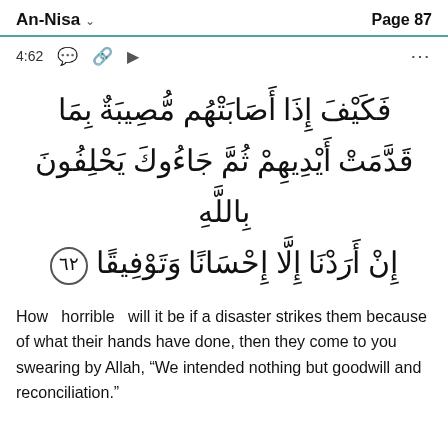An-Nisa   Page 87
4:62
فَكَيْفَ إِذَا أَصَبَتْهُم مُّصِيبَةٌ بِمَا قَدَّمَتْ أَيْدِيهِمْ ثُمَّ جَاءُوكَ يَحْلِفُونَ بِاللَّهِ إِنْ أَرَدْنَا إِلَّا إِحْسَانًا وَتَوْفِيقًا ﴿٦٢﴾
How  horrible  will it be if a disaster strikes them because of what their hands have done, then they come to you swearing by Allah, "We intended nothing but goodwill and reconciliation."